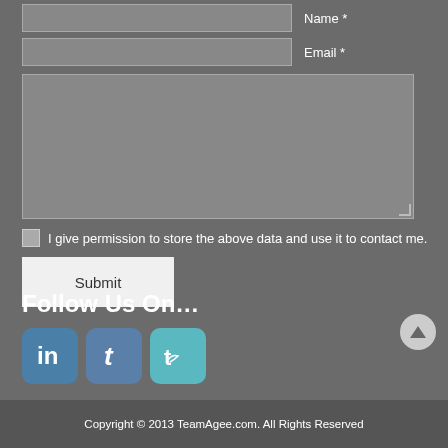Name *
Email *
I give permission to store the above data and use it to contact me.
Submit
Follow Us On…
[Figure (logo): LinkedIn, Tumblr, and Twitter social media icon buttons]
Copyright © 2013 TeamAgee.com. All Rights Reserved